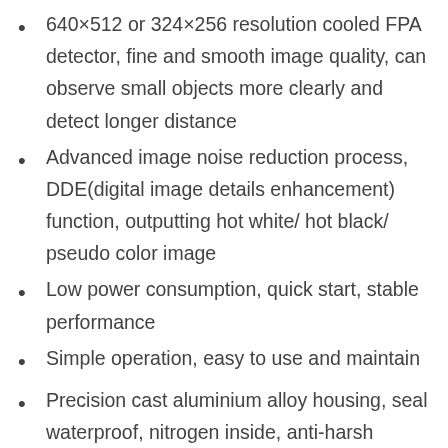640×512 or 324×256 resolution cooled FPA detector, fine and smooth image quality, can observe small objects more clearly and detect longer distance
Advanced image noise reduction process, DDE(digital image details enhancement) function, outputting hot white/ hot black/ pseudo color image
Low power consumption, quick start, stable performance
Simple operation, easy to use and maintain
Precision cast aluminium alloy housing, seal waterproof, nitrogen inside, anti-harsh